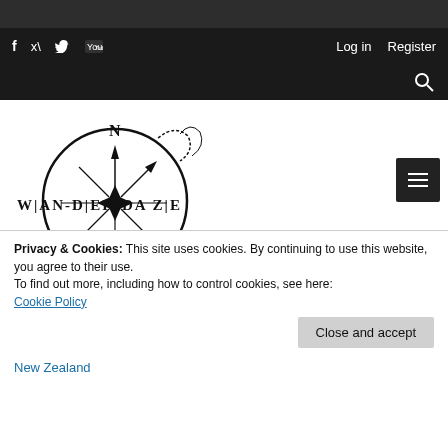[Figure (logo): WANDERDAZE compass logo with circle and compass rose, text WANDERDAZE across center]
Privacy & Cookies: This site uses cookies. By continuing to use this website, you agree to their use.
To find out more, including how to control cookies, see here:
Cookie Policy
Close and accept
New Zealand